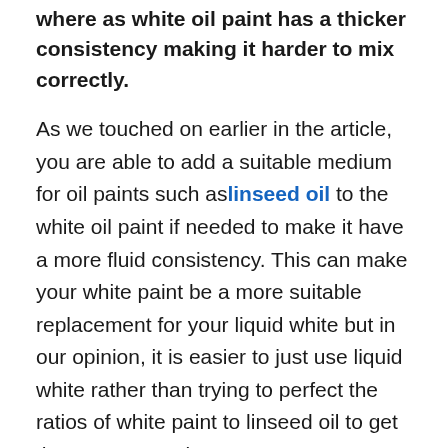where as white oil paint has a thicker consistency making it harder to mix correctly.
As we touched on earlier in the article, you are able to add a suitable medium for oil paints such as linseed oil to the white oil paint if needed to make it have a more fluid consistency. This can make your white paint be a more suitable replacement for your liquid white but in our opinion, it is easier to just use liquid white rather than trying to perfect the ratios of white paint to linseed oil to get the correct consistency.
Keep in mind that your costs can quickly cla...